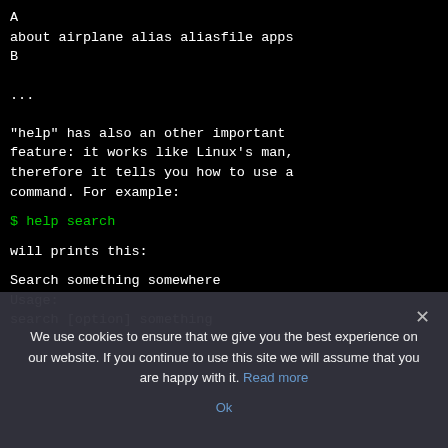A
about airplane alias aliasfile apps
B

...
"help" has also an other important feature: it works like Linux's man, therefore it tells you how to use a command. For example:
$ help search
will prints this:
Search something somewhere
Usage:
search [option] something
We use cookies to ensure that we give you the best experience on our website. If you continue to use this site we will assume that you are happy with it. Read more
Ok